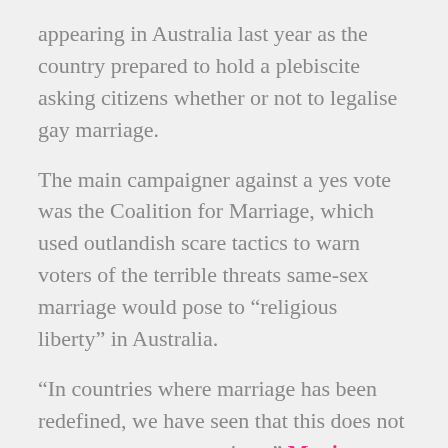appearing in Australia last year as the country prepared to hold a plebiscite asking citizens whether or not to legalise gay marriage.
The main campaigner against a yes vote was the Coalition for Marriage, which used outlandish scare tactics to warn voters of the terrible threats same-sex marriage would pose to “religious liberty” in Australia.
“In countries where marriage has been redefined, we have seen that this does not stop at same-sex marriage,” Monica Doumit, a spokeswoman for the Coalition for Marriage, said. “Despite promises of LGBT+ lobbyists, this is not about ‘living and letting live.’”
She pointed out that in the United States, some Christians who refused to provide services or products